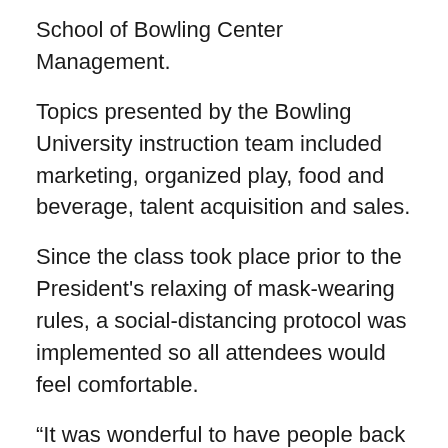School of Bowling Center Management.
Topics presented by the Bowling University instruction team included marketing, organized play, food and beverage, talent acquisition and sales.
Since the class took place prior to the President's relaxing of mask-wearing rules, a social-distancing protocol was implemented so all attendees would feel comfortable.
“It was wonderful to have people back at the campus,” said Bart Burger, BPAA’s Director of Membership and Educational Services. “Now, we’re looking forward to the great educational lineup at Bowl Expo and a return to what bowling proprietors do best — sharing ideas with one another.”
The School of Bowling Center Management class of 2021